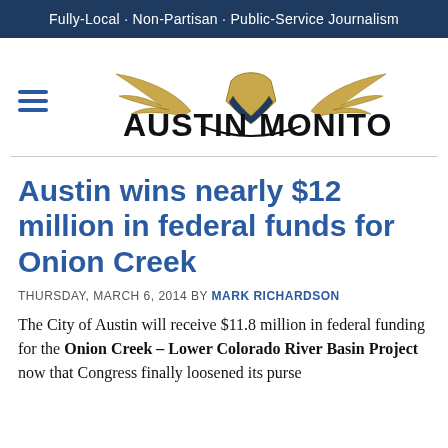Fully-Local · Non-Partisan · Public-Service Journalism
[Figure (logo): Austin Monitor logo with hamburger menu icon, eagle wings emblem, and bold wordmark text]
Austin wins nearly $12 million in federal funds for Onion Creek
THURSDAY, MARCH 6, 2014 BY MARK RICHARDSON
The City of Austin will receive $11.8 million in federal funding for the Onion Creek – Lower Colorado River Basin Project now that Congress finally loosened its purse